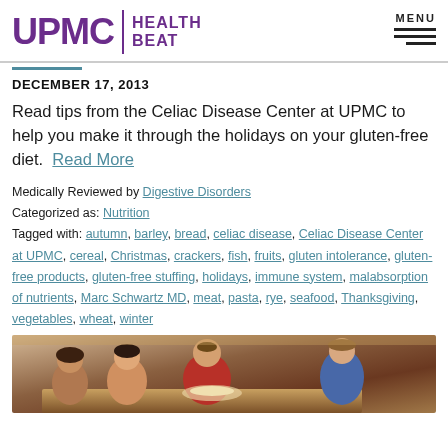UPMC | HEALTH BEAT
DECEMBER 17, 2013
Read tips from the Celiac Disease Center at UPMC to help you make it through the holidays on your gluten-free diet.  Read More
Medically Reviewed by Digestive Disorders
Categorized as: Nutrition
Tagged with: autumn, barley, bread, celiac disease, Celiac Disease Center at UPMC, cereal, Christmas, crackers, fish, fruits, gluten intolerance, gluten-free products, gluten-free stuffing, holidays, immune system, malabsorption of nutrients, Marc Schwartz MD, meat, pasta, rye, seafood, Thanksgiving, vegetables, wheat, winter
[Figure (photo): A group of people gathered around a holiday table, smiling and sharing food.]